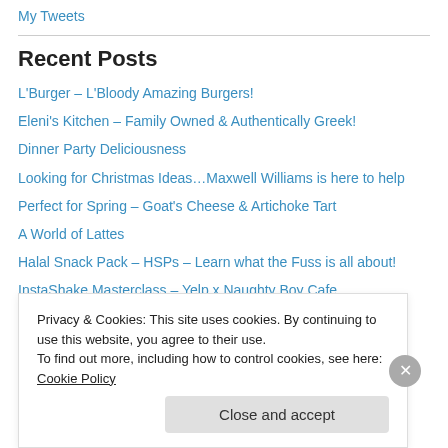My Tweets
Recent Posts
L'Burger – L'Bloody Amazing Burgers!
Eleni's Kitchen – Family Owned & Authentically Greek!
Dinner Party Deliciousness
Looking for Christmas Ideas…Maxwell Williams is here to help
Perfect for Spring – Goat's Cheese & Artichoke Tart
A World of Lattes
Halal Snack Pack – HSPs – Learn what the Fuss is all about!
InstaShake Masterclass – Yelp x Naughty Boy Cafe
Green Press – How To Be A Smoothie Criminal
Privacy & Cookies: This site uses cookies. By continuing to use this website, you agree to their use.
To find out more, including how to control cookies, see here: Cookie Policy
Close and accept